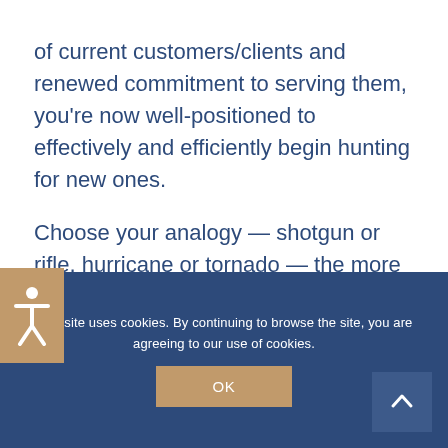of current customers/clients and renewed commitment to serving them, you’re now well-positioned to effectively and efficiently begin hunting for new ones.
Choose your analogy — shotgun or rifle, hurricane or tornado — the more you narrow your definition, the more likely you’ll find your “10.”
Next post: Goldilocks Was On to Something
This site uses cookies. By continuing to browse the site, you are agreeing to our use of cookies.